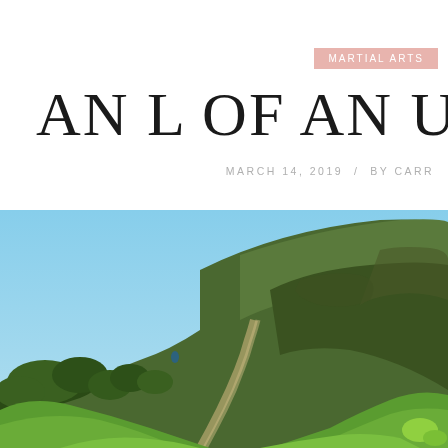MARTIAL ARTS
AN L OF AN UPHI
MARCH 14, 2019 / BY CARR
[Figure (photo): Outdoor hillside landscape with green grassy slopes, shrubs and bushes, a winding path going uphill, and a clear bright blue sky in the background.]